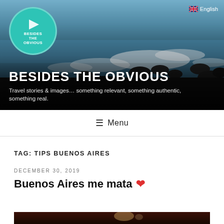[Figure (photo): Hero banner with rocky coastline and ocean waves. Teal circular logo with flag icon and text BESIDES THE OBVIOUS in top left. English language flag badge in top right.]
BESIDES THE OBVIOUS
Travel stories & images… something relevant, something authentic, something real.
≡ Menu
TAG: TIPS BUENOS AIRES
DECEMBER 30, 2019
Buenos Aires me mata ❤
[Figure (photo): Partial view of a warm-toned interior photo, dark with reddish-brown hues and a spotlight visible]